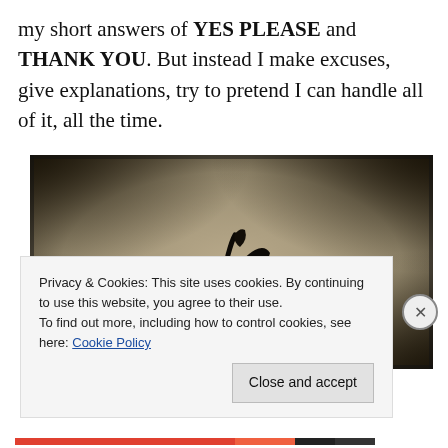my short answers of YES PLEASE and THANK YOU. But instead I make excuses, give explanations, try to pretend I can handle all of it, all the time.
[Figure (photo): Antique tintype-style photograph with dark vignette corners showing a dried black flower or plant specimen on a sepia-toned background]
Privacy & Cookies: This site uses cookies. By continuing to use this website, you agree to their use. To find out more, including how to control cookies, see here: Cookie Policy